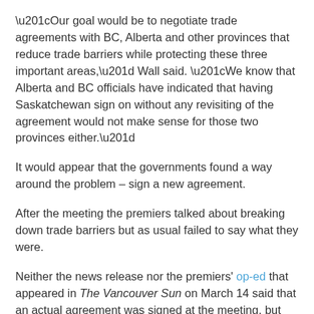“Our goal would be to negotiate trade agreements with BC, Alberta and other provinces that reduce trade barriers while protecting these three important areas,” Wall said. “We know that Alberta and BC officials have indicated that having Saskatchewan sign on without any revisiting of the agreement would not make sense for those two provinces either.”
It would appear that the governments found a way around the problem – sign a new agreement.
After the meeting the premiers talked about breaking down trade barriers but as usual failed to say what they were.
Neither the news release nor the premiers’ op-ed that appeared in The Vancouver Sun on March 14 said that an actual agreement was signed at the meeting, but Sun reporter Derrick Penner put that mystery to rest in the article 3 provinces to study joint remand centre for gangsters: “The premiers signed an economic partnership agreement in which they agreed to work cooperatively on a wide range of